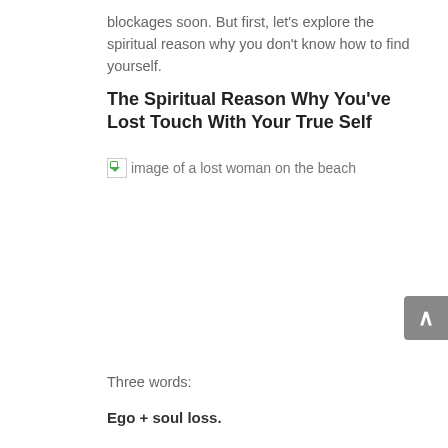blockages soon. But first, let's explore the spiritual reason why you don't know how to find yourself.
The Spiritual Reason Why You've Lost Touch With Your True Self
[Figure (photo): image of a lost woman on the beach]
Three words:
Ego + soul loss.